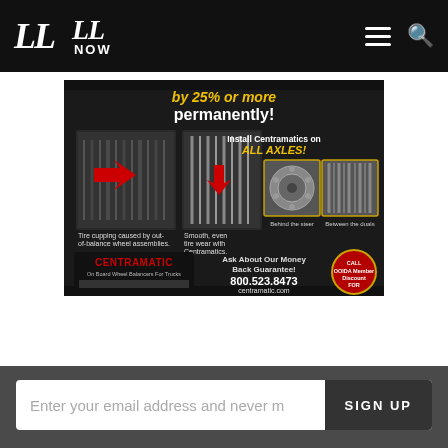LL | LL NOW
[Figure (advertisement): Centramatic tire balancer advertisement showing tire cupping from out-of-balance wheel assemblies vs smooth even tire wear with Centramatics. Install Centramatics on ALL AXLES! Ask About Our Money Back Guarantee! 800.523.8473 centramatic.com. Shows images of worn tires vs properly balanced tires, behind the steer and between the duals positions.]
Enter your email address and never miss a story